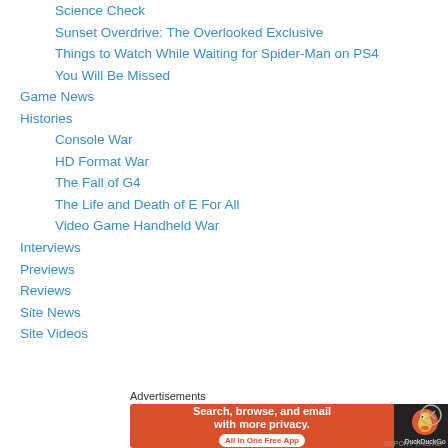Science Check
Sunset Overdrive: The Overlooked Exclusive
Things to Watch While Waiting for Spider-Man on PS4
You Will Be Missed
Game News
Histories
Console War
HD Format War
The Fall of G4
The Life and Death of E For All
Video Game Handheld War
Interviews
Previews
Reviews
Site News
Site Videos
[Figure (infographic): DuckDuckGo advertisement banner: orange left section with white text 'Search, browse, and email with more privacy. All in One Free App' and dark right section with DuckDuckGo logo and duck icon.]